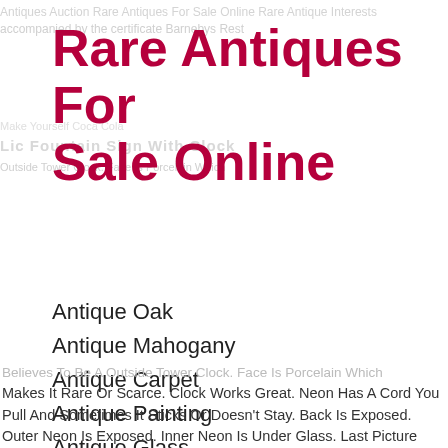Rare Antiques For Sale Online
Antique Oak
Antique Mahogany
Antique Carpet
Antique Painting
Antique Glass
Antique Plate
Makes It Rare Or Scarce. Clock Works Great. Neon Has A Cord You Pull And Sometimes It Sticks Or Doesn't Stay. Back Is Exposed. Outer Neon Is Exposed. Inner Neon Is Under Glass. Last Picture